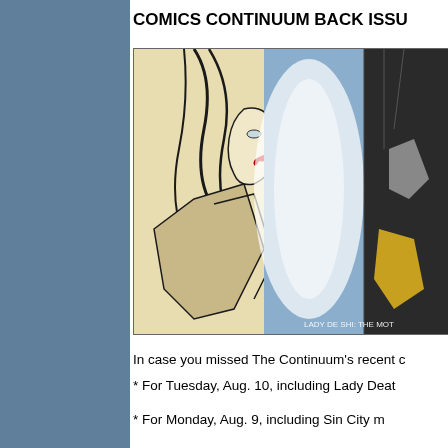COMICS CONTINUUM BACK ISSU
[Figure (illustration): Comic book style illustration showing a stylized female character with white hair and red lips in profile, with another character visible on the right side, with bluish smoke/energy effects. Watermark text reads 'LADY DE SHI: THE MOT']
In case you missed The Continuum's recent c
* For Tuesday, Aug. 10, including Lady Deat
* For Monday, Aug. 9, including Sin City m